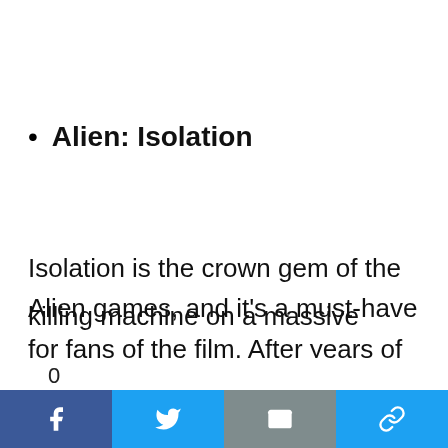Alien: Isolation
Isolation is the crown gem of the Alien games, and it's a must-have for fans of the film. After years of terrible licensed shooters and games based on Aliens, Isolation set players against an unbeatable killing machine on a massive space station
0 SHARES